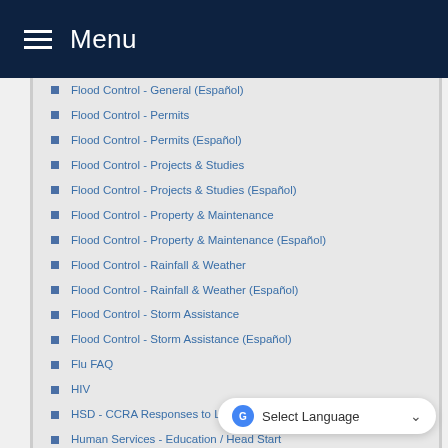Menu
Flood Control - General (Español)
Flood Control - Permits
Flood Control - Permits (Español)
Flood Control - Projects & Studies
Flood Control - Projects & Studies (Español)
Flood Control - Property & Maintenance
Flood Control - Property & Maintenance (Español)
Flood Control - Rainfall & Weather
Flood Control - Rainfall & Weather (Español)
Flood Control - Storm Assistance
Flood Control - Storm Assistance (Español)
Flu FAQ
HIV
HSD - CCRA Responses to Landlords
Human Services - Education / Head Start
Immunizations
Información sobre la clínica - Pr...
Initiating a Remote Attestation
Internal Audit
Juvenile Court - Delinquency FAQs